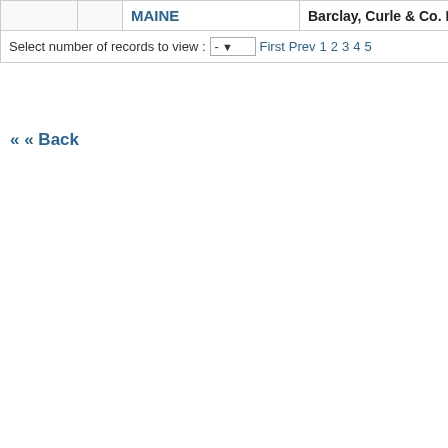|  |  | MAINE | Barclay, Curle & Co. Ltd. | 730 |
| --- | --- | --- | --- | --- |
| Select number of records to view : | - ▼ | First Prev | 1 2 3 4 5 |  |
« « Back